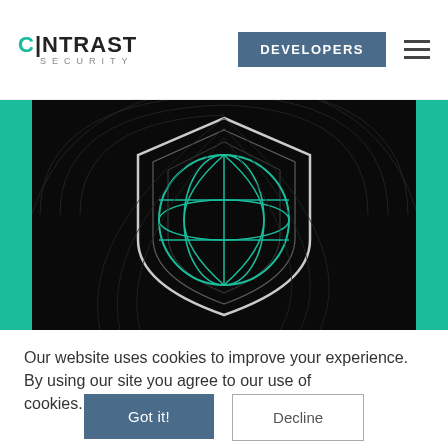[Figure (logo): Contrast Security logo with teal C and vertical bar, text CONTRAST above SECURITY]
DEVELOPERS
[Figure (illustration): Dark hero image with teal globe/shield illustration on black background with radiating lines, teal side bars on left and right]
Our website uses cookies to improve your experience. By using our site you agree to our use of cookies. Privacy Policy
Got it!
Decline